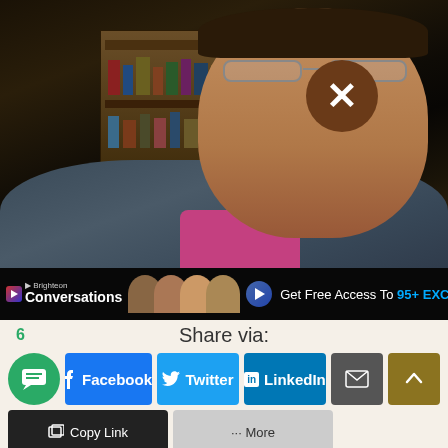[Figure (screenshot): Video player showing an elderly man wearing glasses, a blue sweater vest and pink shirt, seated in front of a bookshelf. A brown circle with white X appears over his face. At the bottom of the video is a Brighteon Conversations banner: 'Get Free Access To 95+ EXCLUSIVE INTE...']
Share via:
6
Facebook
Twitter
LinkedIn
Copy Link
More